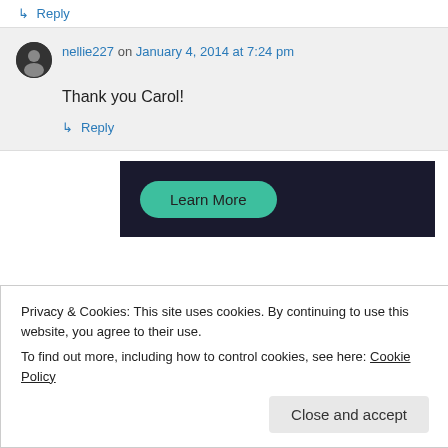↳ Reply
nellie227 on January 4, 2014 at 7:24 pm
Thank you Carol!
↳ Reply
[Figure (other): Dark banner advertisement with a teal 'Learn More' rounded button]
Privacy & Cookies: This site uses cookies. By continuing to use this website, you agree to their use.
To find out more, including how to control cookies, see here: Cookie Policy
Close and accept